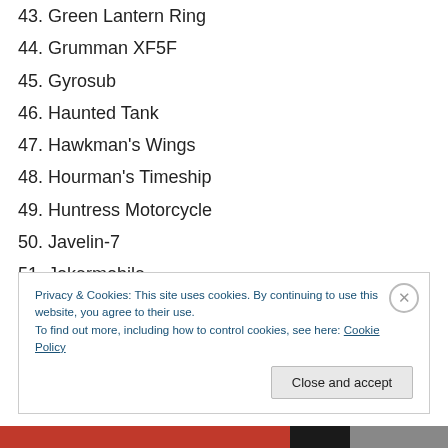43. Green Lantern Ring
44. Grumman XF5F
45. Gyrosub
46. Haunted Tank
47. Hawkman's Wings
48. Hourman's Timeship
49. Huntress Motorcycle
50. Javelin-7
51. Jokermobile
52. Jonah Hex's Mechanical Horse
Privacy & Cookies: This site uses cookies. By continuing to use this website, you agree to their use.
To find out more, including how to control cookies, see here: Cookie Policy